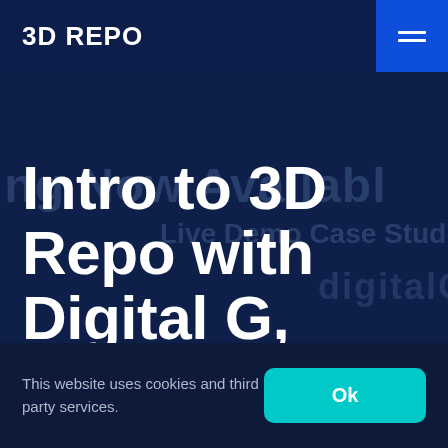3D Repo
Intro to 3D Repo with Digital G, Gammon, Buro Happold, Atkins
This website uses cookies and third party services.